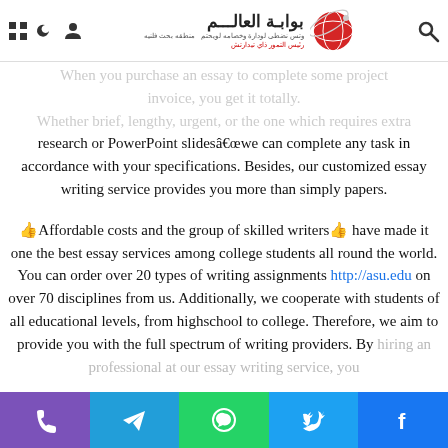بوابة العالم — header with logo and navigation icons
When you purchase an essay to complete some project invoice, you get it totally. Whether brief, lengthy, urgent, or the one which requires extra research or PowerPoint slides‍‍‍we can complete any task in accordance with your specifications. Besides, our customized essay writing service provides you more than simply papers.
👍Affordable costs and the group of skilled writers👍 have made it one the best essay services among college students all round the world. You can order over 20 types of writing assignments http://asu.edu on over 70 disciplines from us. Additionally, we cooperate with students of all educational levels, from highschool to college. Therefore, we aim to provide you with the full spectrum of writing providers. By hiring an professional at our essay writing service, you
Phone | Telegram | WhatsApp | Twitter | Facebook